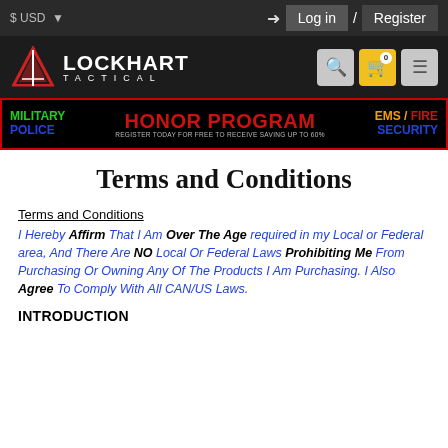$ USD  Log in / Register
[Figure (logo): Lockhart Tactical logo with triangle/arrow icon and navigation icons (search, cart, menu)]
[Figure (infographic): Military Honor Program banner - MILITARY POLICE HONOR PROGRAM EMS/FIRE SECURITY REGISTER TODAY FOR FREE TO RECEIVE SAVING UP TO 60%]
Terms and Conditions
Terms and Conditions
I Hereby Affirm That I Am Over The Age required in my Local or Federal area, And There Are NO Local Or Federal Laws Prohibiting Me From Purchasing Or Owning Any Of The Products I Am Purchasing. I Also Agree To Comply With All CAN/US Laws.
INTRODUCTION